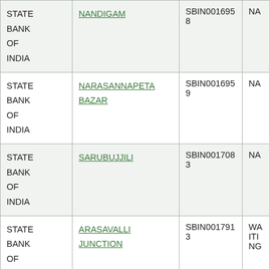| Bank | Branch | IFSC | Status |
| --- | --- | --- | --- |
| STATE BANK OF INDIA | NANDIGAM | SBIN0016958 | NA |
| STATE BANK OF INDIA | NARASANNAPETA BAZAR | SBIN0016959 | NA |
| STATE BANK OF INDIA | SARUBUJJILI | SBIN0017083 | NA |
| STATE BANK OF INDIA | ARASAVALLI JUNCTION | SBIN0017913 | WAITING |